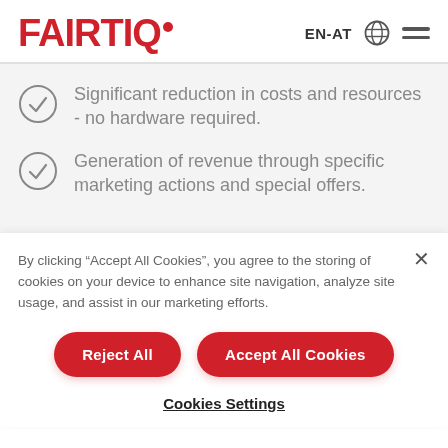FAIRTIQ  EN-AT
Significant reduction in costs and resources - no hardware required.
Generation of revenue through specific marketing actions and special offers.
By clicking “Accept All Cookies”, you agree to the storing of cookies on your device to enhance site navigation, analyze site usage, and assist in our marketing efforts.
Reject All
Accept All Cookies
Cookies Settings